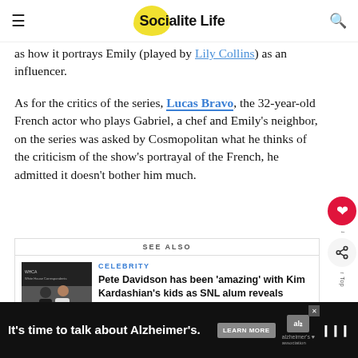Socialite Life
as how it portrays Emily (played by Lily Collins) as an influencer.
As for the critics of the series, Lucas Bravo, the 32-year-old French actor who plays Gabriel, a chef and Emily's neighbor, on the series was asked by Cosmopolitan what he thinks of the criticism of the show's portrayal of the French, he admitted it doesn't bother him much.
SEE ALSO
CELEBRITY
Pete Davidson has been 'amazing' with Kim Kardashian's kids as SNL alum reveals dream to become a dad: Source
[Figure (photo): Photo of Pete Davidson and Kim Kardashian at WHCA event]
It's time to talk about Alzheimer's. LEARN MORE